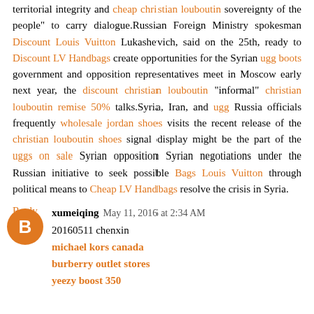territorial integrity and cheap christian louboutin sovereignty of the people" to carry dialogue.Russian Foreign Ministry spokesman Discount Louis Vuitton Lukashevich, said on the 25th, ready to Discount LV Handbags create opportunities for the Syrian ugg boots government and opposition representatives meet in Moscow early next year, the discount christian louboutin "informal" christian louboutin remise 50% talks.Syria, Iran, and ugg Russia officials frequently wholesale jordan shoes visits the recent release of the christian louboutin shoes signal display might be the part of the uggs on sale Syrian opposition Syrian negotiations under the Russian initiative to seek possible Bags Louis Vuitton through political means to Cheap LV Handbags resolve the crisis in Syria.
Reply
xumeiqing May 11, 2016 at 2:34 AM
20160511 chenxin
michael kors canada
burberry outlet stores
yeezy boost 350